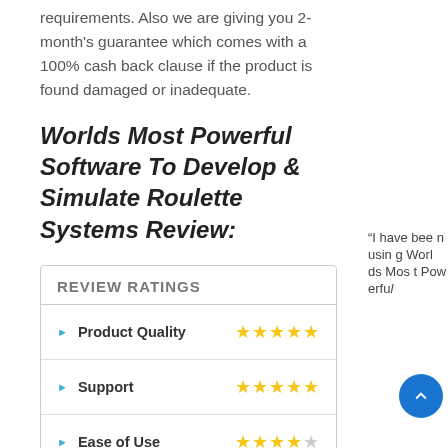requirements. Also we are giving you 2-month's guarantee which comes with a 100% cash back clause if the product is found damaged or inadequate.
Worlds Most Powerful Software To Develop & Simulate Roulette Systems Review:
| Category | Rating |
| --- | --- |
| Product Quality | 5/5 stars |
| Support | 5/5 stars |
| Ease of Use | 4/5 stars |
| Value | 4/5 stars |
| Brand Reputation | 4/5 stars |
| Overall Rating | 5/5 stars |
“I have been using Worlds Most Powerful...